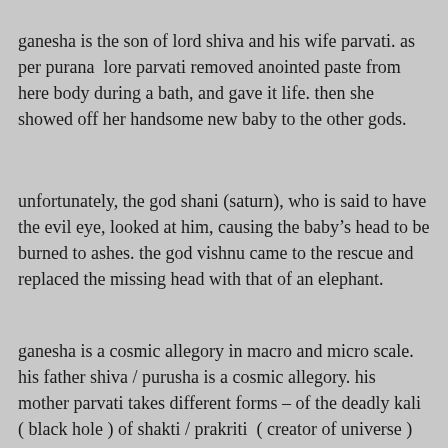ganesha is the son of lord shiva and his wife parvati. as per purana  lore parvati removed anointed paste from here body during a bath, and gave it life. then she showed off her handsome new baby to the other gods.
unfortunately, the god shani (saturn), who is said to have the evil eye, looked at him, causing the baby’s head to be burned to ashes. the god vishnu came to the rescue and replaced the missing head with that of an elephant.
ganesha is a cosmic allegory in macro and micro scale. his father shiva / purusha is a cosmic allegory. his mother parvati takes different forms – of the deadly kali ( black hole ) of shakti / prakriti  ( creator of universe )